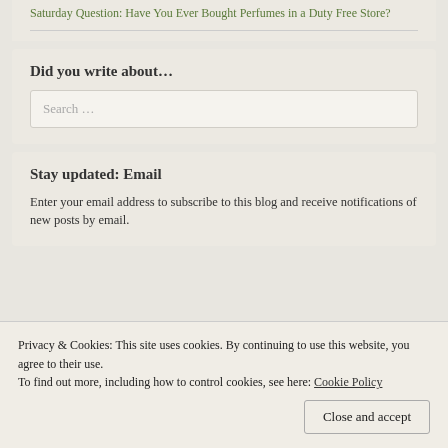Saturday Question: Have You Ever Bought Perfumes in a Duty Free Store?
Did you write about…
Search …
Stay updated: Email
Enter your email address to subscribe to this blog and receive notifications of new posts by email.
Privacy & Cookies: This site uses cookies. By continuing to use this website, you agree to their use.
To find out more, including how to control cookies, see here: Cookie Policy
Close and accept